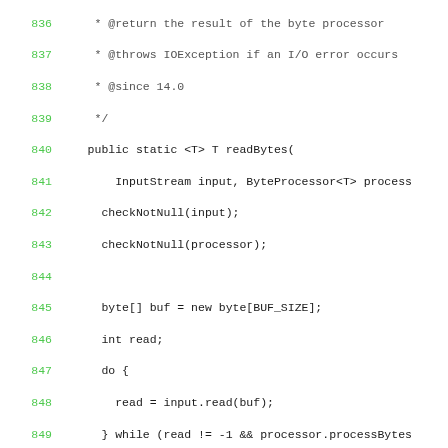Code listing lines 836-865 showing Java source code with Javadoc comments and method body for readBytes and hash methods